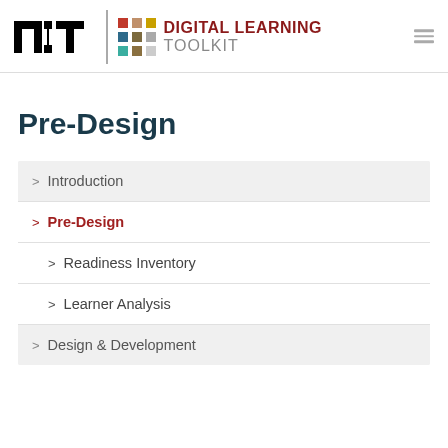[Figure (logo): MIT Digital Learning Toolkit logo with MIT text, colored dot grid, and 'DIGITAL LEARNING TOOLKIT' text]
Pre-Design
> Introduction
> Pre-Design
> Readiness Inventory
> Learner Analysis
> Design & Development